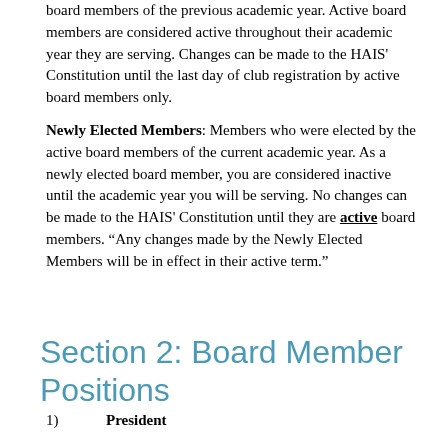board members of the previous academic year. Active board members are considered active throughout their academic year they are serving. Changes can be made to the HAIS' Constitution until the last day of club registration by active board members only.
Newly Elected Members: Members who were elected by the active board members of the current academic year. As a newly elected board member, you are considered inactive until the academic year you will be serving. No changes can be made to the HAIS' Constitution until they are active board members. "Any changes made by the Newly Elected Members will be in effect in their active term."
Section 2: Board Member Positions
1)    President